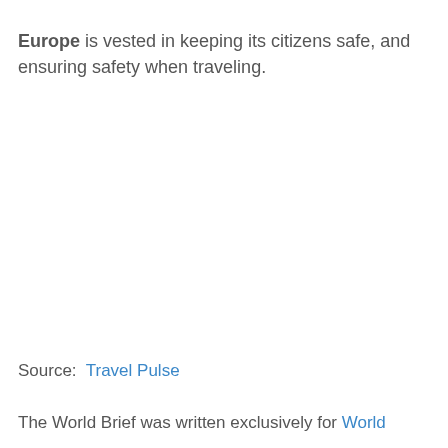Europe is vested in keeping its citizens safe, and ensuring safety when traveling.
Source:  Travel Pulse
The World Brief was written exclusively for World